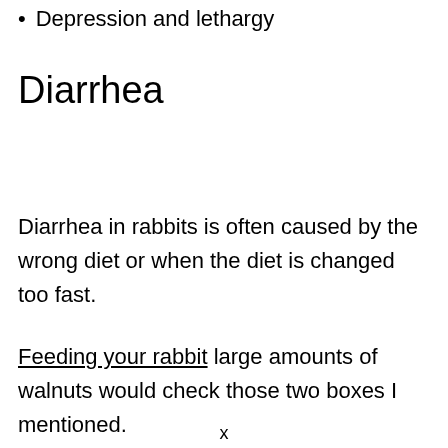Depression and lethargy
Diarrhea
Diarrhea in rabbits is often caused by the wrong diet or when the diet is changed too fast.
Feeding your rabbit large amounts of walnuts would check those two boxes I mentioned.
x